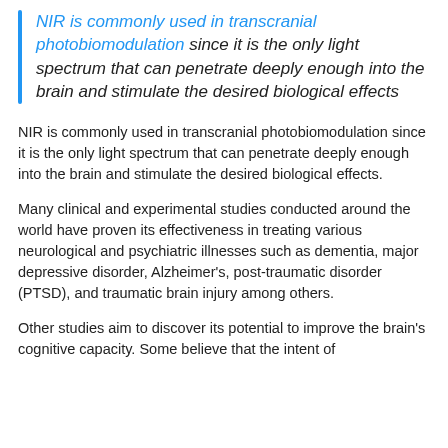NIR is commonly used in transcranial photobiomodulation since it is the only light spectrum that can penetrate deeply enough into the brain and stimulate the desired biological effects
NIR is commonly used in transcranial photobiomodulation since it is the only light spectrum that can penetrate deeply enough into the brain and stimulate the desired biological effects.
Many clinical and experimental studies conducted around the world have proven its effectiveness in treating various neurological and psychiatric illnesses such as dementia, major depressive disorder, Alzheimer's, post-traumatic disorder (PTSD), and traumatic brain injury among others.
Other studies aim to discover its potential to improve the brain's cognitive capacity. Some believe that the intent of